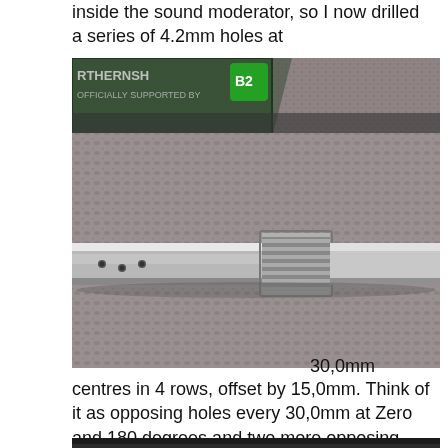inside the sound moderator, so I now drilled a series of 4.2mm holes at
[Figure (photo): Close-up photo of a metal rifle barrel with threading and small drilled holes, laid on a carpet surface. A green badge/patch is partially visible in the background.]
30,0mm centres in 4 rows, offset by 15,0mm. Think of it as opposing holes every 30,0mm at Zero and 180 degrees and two more opposing rows at 90 and 270 degrees with these holes being centred between the other pair. The burrs were removed and the barrel blacked again by hand.